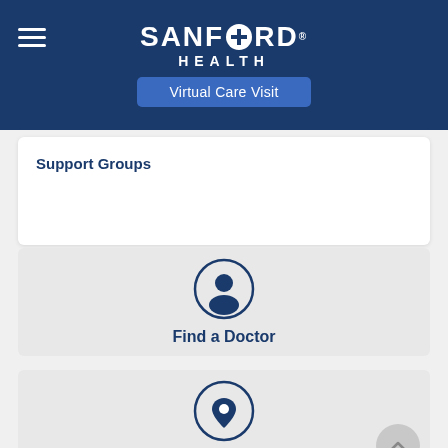[Figure (logo): Sanford Health logo with hamburger menu icon and Virtual Care Visit button on dark blue header background]
Support Groups
[Figure (infographic): Find a Doctor button with person/user icon inside a circle]
[Figure (infographic): Find a Location button with map pin icon inside a circle]